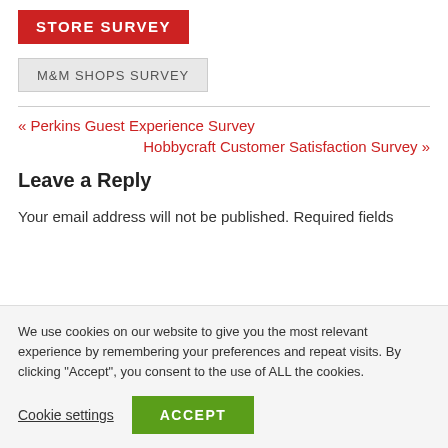STORE SURVEY
M&M SHOPS SURVEY
« Perkins Guest Experience Survey
Hobbycraft Customer Satisfaction Survey »
Leave a Reply
Your email address will not be published. Required fields
We use cookies on our website to give you the most relevant experience by remembering your preferences and repeat visits. By clicking "Accept", you consent to the use of ALL the cookies.
Cookie settings   ACCEPT